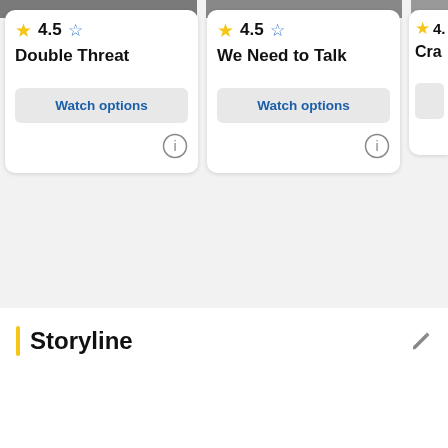[Figure (screenshot): Top image strip showing partial movie/show thumbnails]
4.5  Double Threat  Watch options
4.5  We Need to Talk  Watch options
4.
Storyline